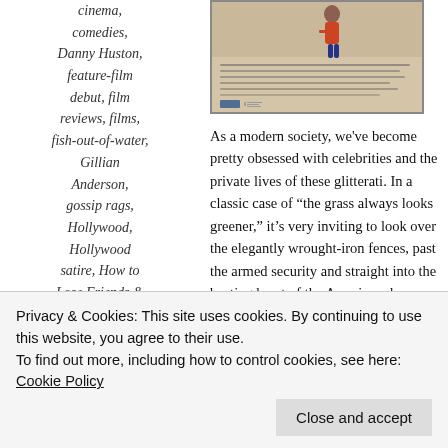cinema, comedies, Danny Huston, feature-film debut, film reviews, films, fish-out-of-water, Gillian Anderson, gossip rags, Hollywood, Hollywood satire, How to Lose Friends & Alienate People, How to Lose … magazines,
[Figure (photo): Movie poster image for 'How to Lose Friends & Alienate People']
As a modern society, we've become pretty obsessed with celebrities and the private lives of these glitterati. In a classic case of “the grass always looks greener,” it’s very inviting to look over the elegantly wrought-iron fences, past the armed security and straight into the beating heart of the American dream. This, of course, is a steaming load of horse pucky: the grass is greener because it’s Astroturf and the beautiful people look a lot like everyone else do first thing in the morning. This, of course, hasn’t stopped an entire outsiders looking to blow holes in the rhinestones …
Privacy & Cookies: This site uses cookies. By continuing to use this website, you agree to their use.
To find out more, including how to control cookies, see here: Cookie Policy
Close and accept